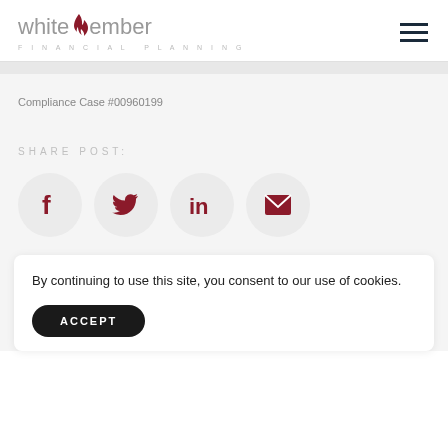[Figure (logo): White Ember Financial Planning logo with flame icon]
Compliance Case #00960199
SHARE POST:
[Figure (infographic): Social share icons: Facebook, Twitter, LinkedIn, Email]
By continuing to use this site, you consent to our use of cookies.